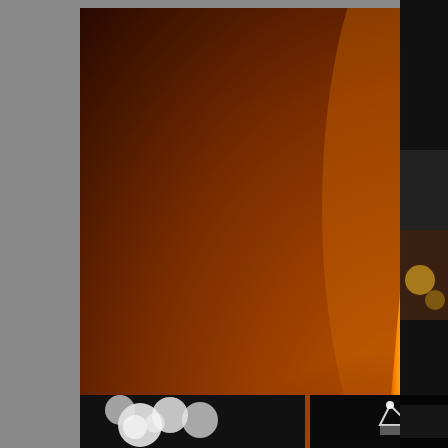[Figure (photo): A lit oil lamp (diya) with a bright flame rising from a golden metallic dish-shaped base, sitting on a surface with radiating golden/orange light. Warm amber and orange tones throughout.]
[Figure (photo): Partially visible image on the right edge — appears to be a person wearing jewelry or a crown, black background.]
[Figure (photo): Bottom left partial image — white roses on a dark/black background.]
[Figure (photo): Bottom center partial image — a decorative crown/tiara with gemstones on a black background.]
[Figure (photo): Bottom right partial image — partially visible image on black background.]